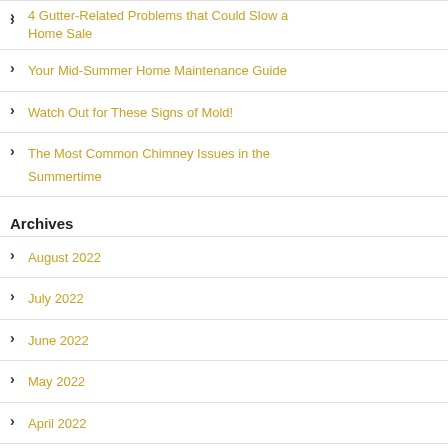4 Gutter-Related Problems that Could Slow a Home Sale
Your Mid-Summer Home Maintenance Guide
Watch Out for These Signs of Mold!
The Most Common Chimney Issues in the Summertime
Archives
August 2022
July 2022
June 2022
May 2022
April 2022